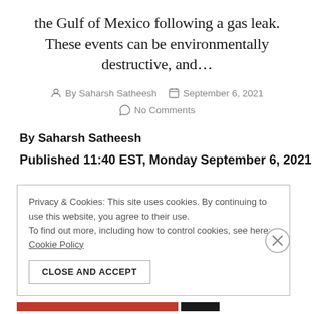the Gulf of Mexico following a gas leak. These events can be environmentally destructive, and…
By Saharsh Satheesh   September 6, 2021   No Comments
By Saharsh Satheesh
Published 11:40 EST, Monday September 6, 2021
Privacy & Cookies: This site uses cookies. By continuing to use this website, you agree to their use.
To find out more, including how to control cookies, see here:
Cookie Policy
CLOSE AND ACCEPT